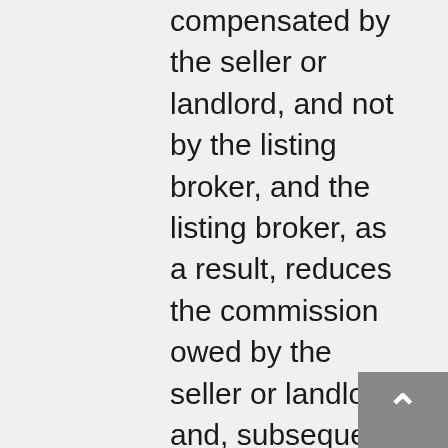compensated by the seller or landlord, and not by the listing broker, and the listing broker, as a result, reduces the commission owed by the seller or landlord and, subsequent to such actions, another cooperating broker claims to be the procuring cause of sale or lease. In such cases the complainant may name the first cooperating broker as respondent and arbitration may proceed without the listing broker being named as a respondent. When arbitration occurs between two (or more) cooperating brokers and where the listing broker is not a party, the amount in dispute and the amount of any potential resulting award is limited to the amount paid to the respondent by the seller or landlord and any amount credited or paid to a party to the transaction at the direction of the respondent. Alternatively, if the complaint is brought against the listing broker, the listing broker may name the first cooperating broker as